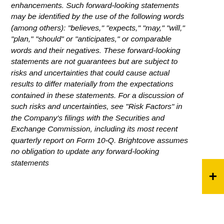enhancements. Such forward-looking statements may be identified by the use of the following words (among others): "believes," "expects," "may," "will," "plan," "should" or "anticipates," or comparable words and their negatives. These forward-looking statements are not guarantees but are subject to risks and uncertainties that could cause actual results to differ materially from the expectations contained in these statements. For a discussion of such risks and uncertainties, see "Risk Factors" in the Company's filings with the Securities and Exchange Commission, including its most recent quarterly report on Form 10-Q. Brightcove assumes no obligation to update any forward-looking statements